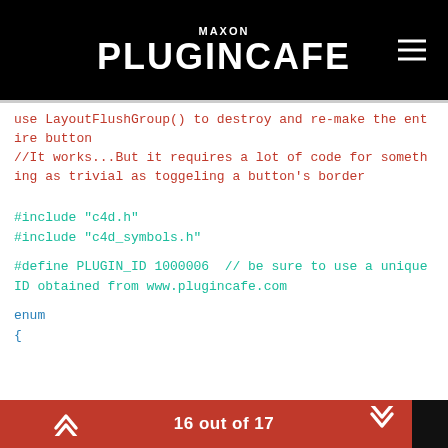MAXON PLUGINCAFE
use LayoutFlushGroup() to destroy and re-make the entire button
//It works...But it requires a lot of code for something as trivial as toggeling a button's border
#include "c4d.h"
#include "c4d_symbols.h"

#define PLUGIN_ID 1000006  // be sure to use a unique ID obtained from www.plugincafe.com

enum
{
16 out of 17